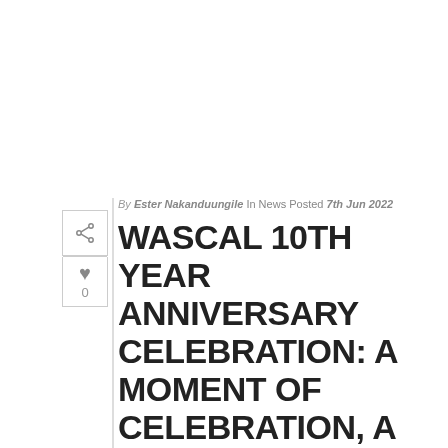By Ester Nakanduungile In News Posted 7th Jun 2022
WASCAL 10TH YEAR ANNIVERSARY CELEBRATION: A MOMENT OF CELEBRATION, A MOMENT OF REFLECTION, AND